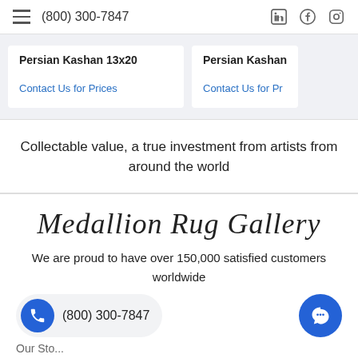(800) 300-7847
Persian Kashan 13x20
Contact Us for Prices
Persian Kashan
Contact Us for Pr...
Collectable value, a true investment from artists from around the world
Medallion Rug Gallery
We are proud to have over 150,000 satisfied customers worldwide
(800) 300-7847